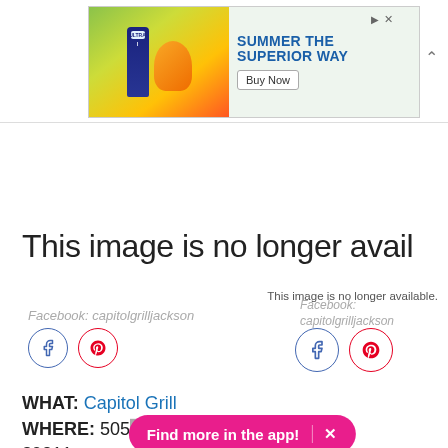[Figure (screenshot): Advertisement banner: 'SUMMER THE SUPERIOR WAY' with Buy Now button, showing Michelob Ultra and a burger image]
This image is no longer available.
This image is no longer availā
Facebook: capitolgrilljackson
[Figure (logo): Facebook icon (blue circle) and Pinterest icon (red circle) - social media buttons]
Facebook: capitolgrilljackson
[Figure (logo): Facebook icon (blue circle) and Pinterest icon (red circle) - social media buttons, right side]
WHAT: Capitol Grill
WHERE: 505 ... on, MS
39211
Find more in the app!